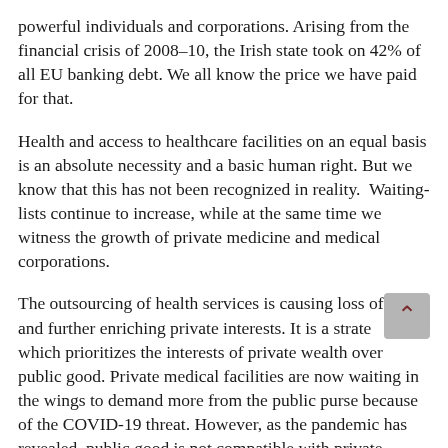powerful individuals and corporations. Arising from the financial crisis of 2008–10, the Irish state took on 42% of all EU banking debt. We all know the price we have paid for that.
Health and access to healthcare facilities on an equal basis is an absolute necessity and a basic human right. But we know that this has not been recognized in reality.  Waiting-lists continue to increase, while at the same time we witness the growth of private medicine and medical corporations.
The outsourcing of health services is causing loss of [obscured] and further enriching private interests. It is a strate[gy] which prioritizes the interests of private wealth over public good. Private medical facilities are now waiting in the wings to demand more from the public purse because of the COVID-19 threat. However, as the pandemic has revealed, public good is not compatible with private [interests].